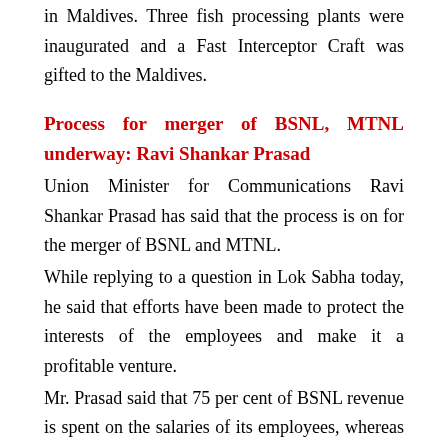in Maldives. Three fish processing plants were inaugurated and a Fast Interceptor Craft was gifted to the Maldives.
Process for merger of BSNL, MTNL underway: Ravi Shankar Prasad
Union Minister for Communications Ravi Shankar Prasad has said that the process is on for the merger of BSNL and MTNL.
While replying to a question in Lok Sabha today, he said that efforts have been made to protect the interests of the employees and make it a profitable venture.
Mr. Prasad said that 75 per cent of BSNL revenue is spent on the salaries of its employees, whereas MTNL is shelling out 87 per cent of its revenue on salaries.